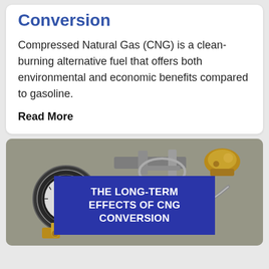The Economics of CNG Conversion
Compressed Natural Gas (CNG) is a clean-burning alternative fuel that offers both environmental and economic benefits compared to gasoline.
Read More
[Figure (photo): Photograph of CNG conversion kit components including pressure gauges and brass fittings on a metal surface]
THE LONG-TERM EFFECTS OF CNG CONVERSION